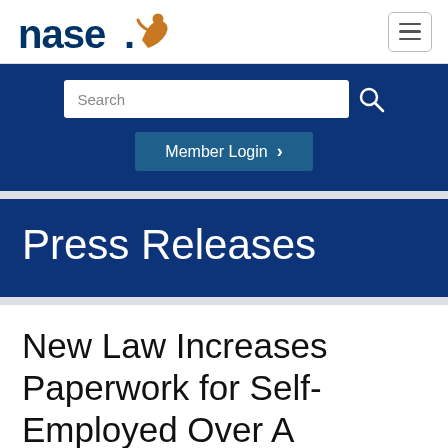nase. [logo with figure icon] [hamburger menu button]
Search [Member Login >]
Press Releases
New Law Increases Paperwork for Self-Employed Over A Thousand Percent